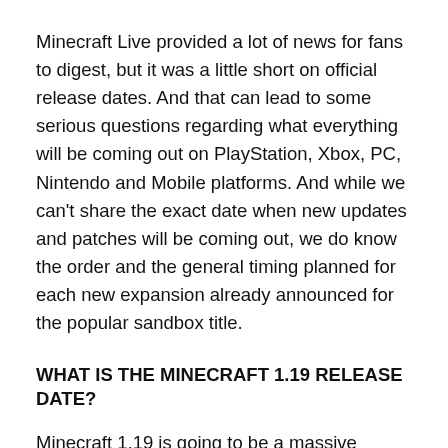Minecraft Live provided a lot of news for fans to digest, but it was a little short on official release dates. And that can lead to some serious questions regarding what everything will be coming out on PlayStation, Xbox, PC, Nintendo and Mobile platforms. And while we can't share the exact date when new updates and patches will be coming out, we do know the order and the general timing planned for each new expansion already announced for the popular sandbox title.
WHAT IS THE MINECRAFT 1.19 RELEASE DATE?
Minecraft 1.19 is going to be a massive expansion for the game, with developers Mojang confirming how the two expansions will be used for providing the